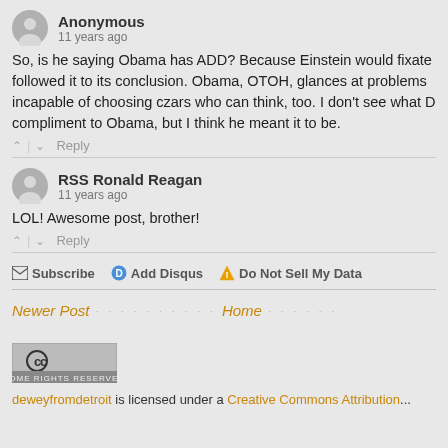Anonymous
11 years ago
So, is he saying Obama has ADD? Because Einstein would fixate followed it to its conclusion. Obama, OTOH, glances at problems incapable of choosing czars who can think, too. I don't see what D compliment to Obama, but I think he meant it to be.
^ | v  Reply
RSS Ronald Reagan
11 years ago
LOL! Awesome post, brother!
^ | v  Reply
Subscribe  Add Disqus  Do Not Sell My Data
Newer Post  Home
[Figure (logo): Creative Commons Some Rights Reserved badge]
deweyfromdetroit is licensed under a Creative Commons Attribution...